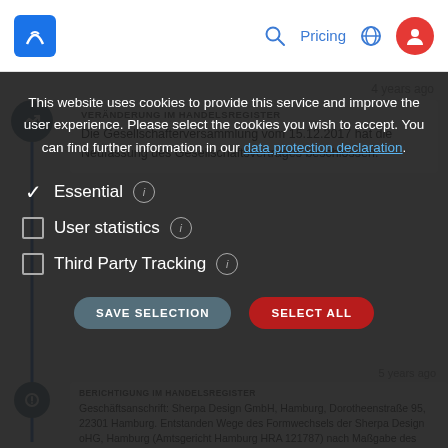Navigation bar with logo, search, Pricing, globe icon, user icon
4 years ago
VERÄNDERUNG IM HANDELSREGISTER
Die Gesellschafterversammlung vom 15.12.2017 hat die Neufassung des Gesellschaftsvertrages beschlossen.
This website uses cookies to provide this service and improve the user experience. Please select the cookies you wish to accept. You can find further information in our data protection declaration.
Essential ℹ
User statistics ℹ
Third Party Tracking ℹ
BERICHTIGUNG IM HANDELSREGISTER
Geschäftsanschrift: Sherpa Design GmbH, Hamburg, Dorotheenstraße 95, 22301 Hamburg. Entstanden Wege des Formwechsels der Sherpa Design oHG, Hamburg (Amtsgericht Hamburg HRA 121787) nach Maßgabe des Beschlusses der Gesellschafterversammlung vom 28.06.2012. Berichtigung der Eintragung vom
SAVE SELECTION
SELECT ALL